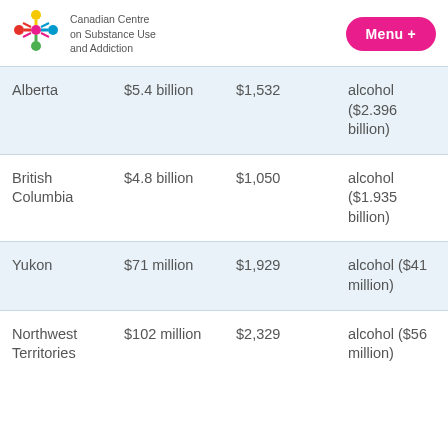Canadian Centre on Substance Use and Addiction | Menu +
| Province/Territory | Total Cost | Per Capita | Largest Category |
| --- | --- | --- | --- |
| Alberta | $5.4 billion | $1,532 | alcohol ($2.396 billion) |
| British Columbia | $4.8 billion | $1,050 | alcohol ($1.935 billion) |
| Yukon | $71 million | $1,929 | alcohol ($41 million) |
| Northwest Territories | $102 million | $2,329 | alcohol ($56 million) |